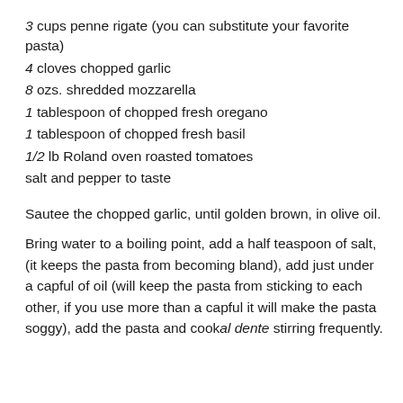3 cups penne rigate (you can substitute your favorite pasta)
4 cloves chopped garlic
8 ozs. shredded mozzarella
1 tablespoon of chopped fresh oregano
1 tablespoon of chopped fresh basil
1/2 lb Roland oven roasted tomatoes
salt and pepper to taste
Sautee the chopped garlic, until golden brown, in olive oil.
Bring water to a boiling point, add a half teaspoon of salt, (it keeps the pasta from becoming bland), add just under a capful of oil (will keep the pasta from sticking to each other, if you use more than a capful it will make the pasta soggy), add the pasta and cook al dente stirring frequently.